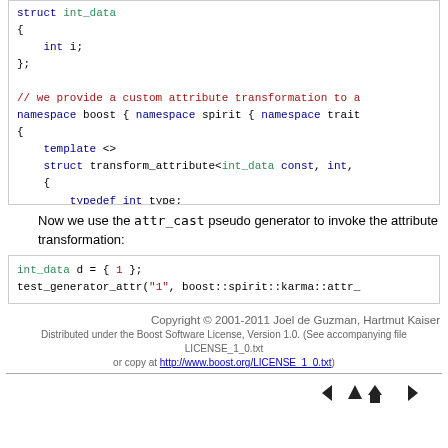[Figure (screenshot): Code block showing struct int_data definition with template specialization for transform_attribute]
Now we use the attr_cast pseudo generator to invoke the attribute transformation:
[Figure (screenshot): Code block showing int_data d = { 1 }; and test_generator_attr call]
Copyright © 2001-2011 Joel de Guzman, Hartmut Kaiser
Distributed under the Boost Software License, Version 1.0. (See accompanying file LICENSE_1_0.txt or copy at http://www.boost.org/LICENSE_1_0.txt)